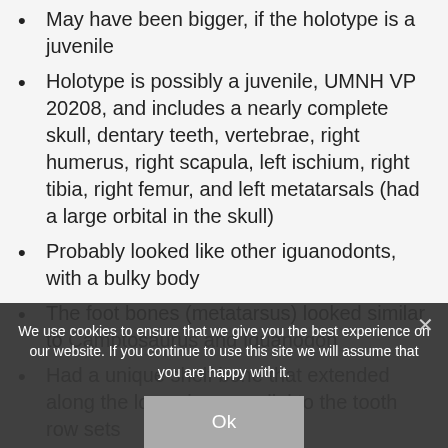May have been bigger, if the holotype is a juvenile
Holotype is possibly a juvenile, UMNH VP 20208, and includes a nearly complete skull, dentary teeth, vertebrae, right humerus, right scapula, left ischium, right tibia, right femur, and left metatarsals (had a large orbital in the skull)
Probably looked like other iguanodonts, with a bulky body
The foot bones (metatarsus) looked similar to Camptosaurus and Iguanodon
Had a unique shelf bone that extended along the lower jaw, parallel to the tooth row sets
Part of the skull was crushed
A lot of the bones were crushed, and the braincase was poorly preserved. The dentary